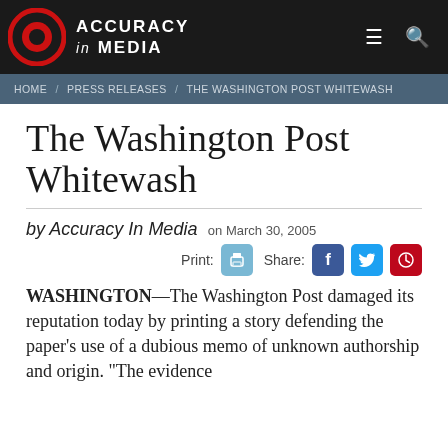ACCURACY in MEDIA
HOME / PRESS RELEASES / THE WASHINGTON POST WHITEWASH
The Washington Post Whitewash
by Accuracy In Media on March 30, 2005
WASHINGTON—The Washington Post damaged its reputation today by printing a story defending the paper's use of a dubious memo of unknown authorship and origin. "The evidence